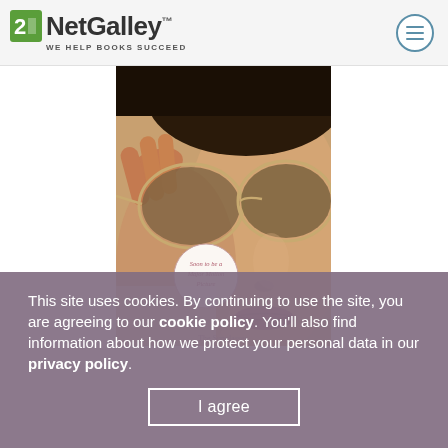NetGalley - WE HELP BOOKS SUCCEED
[Figure (photo): Book cover showing a woman wearing aviator sunglasses, close-up portrait. A circular badge reads 'Soon to be a Major Motion Picture'. NetGalley website screenshot.]
This site uses cookies. By continuing to use the site, you are agreeing to our cookie policy. You'll also find information about how we protect your personal data in our privacy policy.
I agree